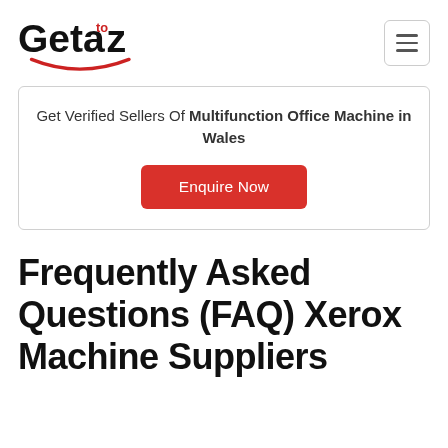Geta to z [logo] [hamburger menu]
Get Verified Sellers Of Multifunction Office Machine in Wales
Enquire Now
Frequently Asked Questions (FAQ) Xerox Machine Suppliers